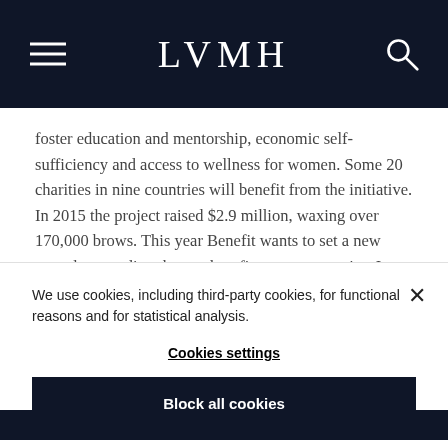LVMH
foster education and mentorship, economic self-sufficiency and access to wellness for women. Some 20 charities in nine countries will benefit from the initiative.
In 2015 the project raised $2.9 million, waxing over 170,000 brows. This year Benefit wants to set a new record, expanding the reach to five more countries. In addition to the US, the UK and Australia, Benefit
We use cookies, including third-party cookies, for functional reasons and for statistical analysis.
Cookies settings
Block all cookies